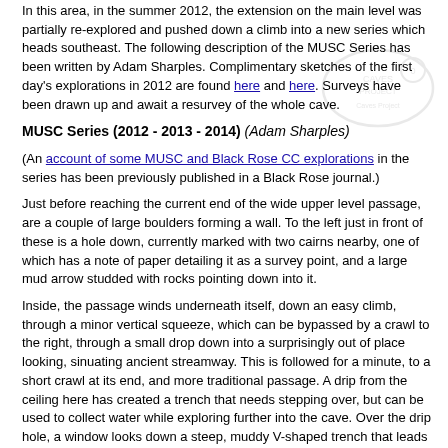In this area, in the summer 2012, the extension on the main level was partially re-explored and pushed down a climb into a new series which heads southeast. The following description of the MUSC Series has been written by Adam Sharples. Complimentary sketches of the first day's explorations in 2012 are found here and here. Surveys have been drawn up and await a resurvey of the whole cave.
[Figure (illustration): Faint watermark/logo of a caving organization (Caves Project) partially visible in top-right area]
MUSC Series (2012 - 2013 - 2014) (Adam Sharples)
(An account of some MUSC and Black Rose CC explorations in the series has been previously published in a Black Rose journal.)
Just before reaching the current end of the wide upper level passage, are a couple of large boulders forming a wall. To the left just in front of these is a hole down, currently marked with two cairns nearby, one of which has a note of paper detailing it as a survey point, and a large mud arrow studded with rocks pointing down into it.
Inside, the passage winds underneath itself, down an easy climb, through a minor vertical squeeze, which can be bypassed by a crawl to the right, through a small drop down into a surprisingly out of place looking, sinuating ancient streamway. This is followed for a minute, to a short crawl at its end, and more traditional passage. A drip from the ceiling here has created a trench that needs stepping over, but can be used to collect water while exploring further into the cave. Over the drip hole, a window looks down a steep, muddy V-shaped trench that leads to the blasted breakthrough. You can either drop through the window down into the trench, or take the easier route to the left under a boulder that bends right and leads straight down.
At the bottom of the trench an S-bend leads into a small 2 man chamber with an over-tight vertical pitch to the left, and a blasted continuation down at floor level to the right. This is best negotiated lying on your right